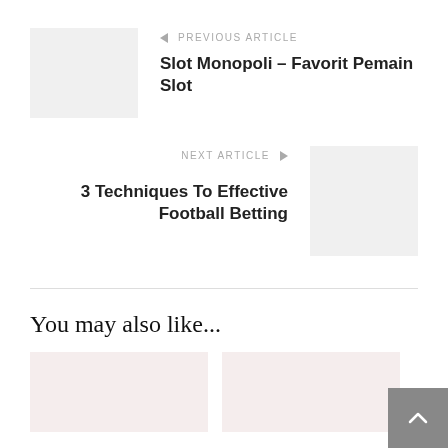← PREVIOUS ARTICLE
Slot Monopoli – Favorit Pemain Slot
NEXT ARTICLE →
3 Techniques To Effective Football Betting
You may also like...